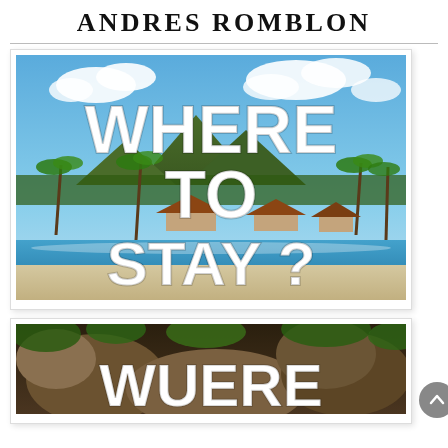ANDRES ROMBLON
[Figure (photo): Beach scene with blue water, white sand, coconut palm trees, thatched-roof bungalows, green mountains in background, blue sky with clouds. Large white text overlay reads 'WHERE TO STAY ?']
[Figure (photo): Rocky jungle/forest scene with large rocks and dense vegetation. Large white text overlay begins 'WHERE' (partially visible, cropped at bottom).]